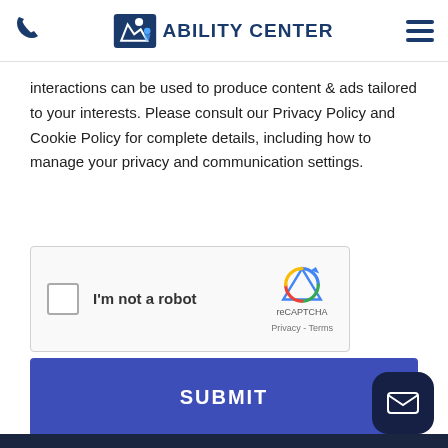Ability Center
interactions can be used to produce content & ads tailored to your interests. Please consult our Privacy Policy and Cookie Policy for complete details, including how to manage your privacy and communication settings.
[Figure (other): reCAPTCHA widget with checkbox labeled 'I'm not a robot' and reCAPTCHA logo with Privacy and Terms links]
SUBMIT
[Figure (other): Dark navy rounded square button with white envelope/email icon in bottom right corner]